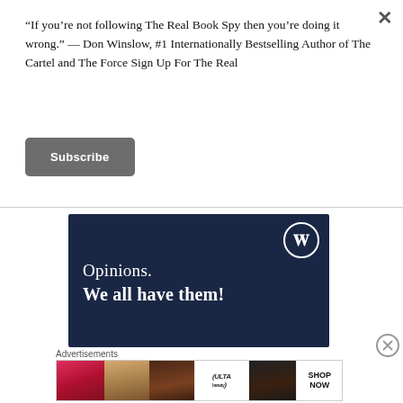“If you’re not following The Real Book Spy then you’re doing it wrong.” — Don Winslow, #1 Internationally Bestselling Author of The Cartel and The Force Sign Up For The Real
Subscribe
[Figure (other): WordPress advertisement showing 'Opinions. We all have them!' with WordPress logo on dark navy background]
Advertisements
[Figure (other): Ulta Beauty advertisement banner with makeup photos and SHOP NOW call to action]